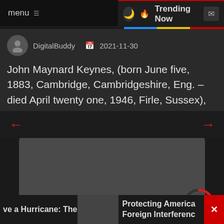menu  ☰   🌙   🔥 Trending Now   ✉
DigitalBuddy   📅 2021-11-30
John Maynard Keynes, (born June five, 1883, Cambridge, Cambridgeshire, Eng. – died April twenty one, 1946, Firle, Sussex), English economist,...
[Figure (other): Left arrow navigation button (red ←)]
[Figure (other): Right arrow navigation button (red →)]
[Figure (other): Dark image card placeholder]
[Figure (other): Progress circle showing 72% in red]
ve a Hurricane: The
[Figure (photo): Small thumbnail image]
Protecting America Foreign Interferenc